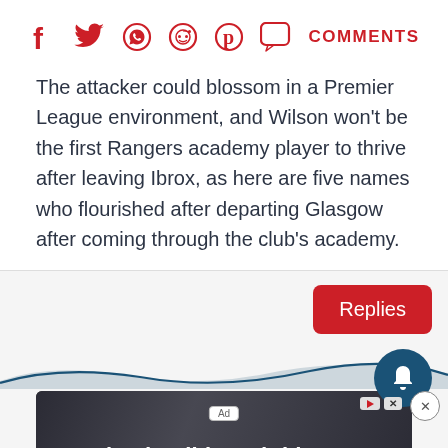[Figure (infographic): Social media share bar with icons for Facebook, Twitter, WhatsApp, Reddit, Pinterest, and a speech bubble (comments) icon, plus a red COMMENTS label]
The attacker could blossom in a Premier League environment, and Wilson won't be the first Rangers academy player to thrive after leaving Ibrox, as here are five names who flourished after departing Glasgow after coming through the club's academy.
[Figure (screenshot): Comments section with a red Replies button, a dark teal bell notification button, a close X button, a blue wave decoration, an Ad label, and a Download Helbiz and ride advertisement banner at the bottom]